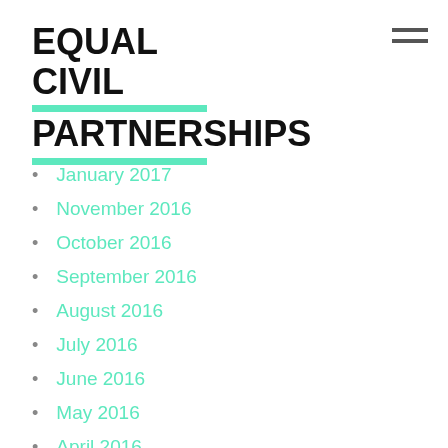EQUAL CIVIL PARTNERSHIPS
January 2017
November 2016
October 2016
September 2016
August 2016
July 2016
June 2016
May 2016
April 2016
March 2016
January 2016